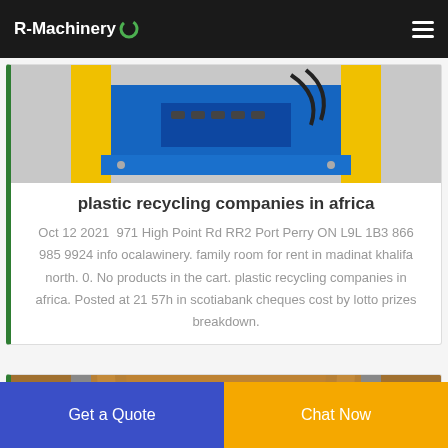R-Machinery
[Figure (photo): Close-up photo of industrial machinery with yellow and blue components, showing a compactor or similar machine part with black cables and metal fittings]
plastic recycling companies in africa
Oct 12 2021  971 High Point Rd RR2 Port Perry ON L9L 1B3  866 985 9924 info ocalawinery. family room for rent in madinat khalifa north. 0. No products in the cart. plastic recycling companies in africa. Posted at 21 57h in scotiabank cheques cost by lotto prizes breakdown.
[Figure (photo): Partial photo of circular industrial equipment, appears to be a drum or wheel with metal rim, brownish interior visible]
Get a Quote
Chat Now